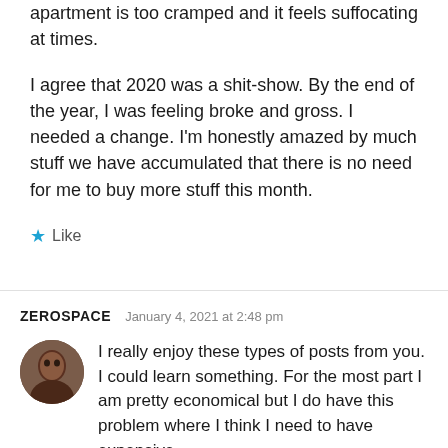apartment is too cramped and it feels suffocating at times.

I agree that 2020 was a shit-show. By the end of the year, I was feeling broke and gross. I needed a change. I'm honestly amazed by much stuff we have accumulated that there is no need for me to buy more stuff this month.
★ Like
ZEROSPACE  January 4, 2021 at 2:48 pm
I really enjoy these types of posts from you. I could learn something. For the most part I am pretty economical but I do have this problem where I think I need to have expensive